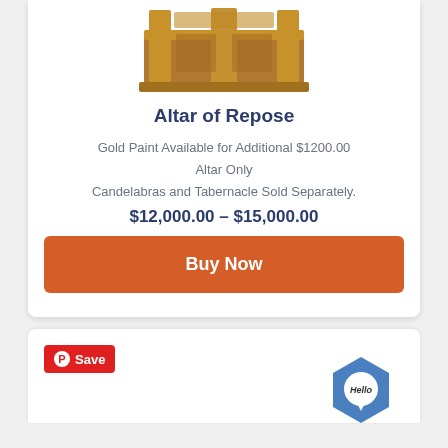[Figure (photo): Wooden carved Altar of Repose furniture piece, ornate with carvings, shown from above the card top]
Altar of Repose
Gold Paint Available for Additional $1200.00
Altar Only
Candelabras and Tabernacle Sold Separately.
$12,000.00 – $15,000.00
Buy Now
[Figure (logo): Pinterest Save button (red background with P icon) and Hello chat widget (blue hexagon with speech bubble)]